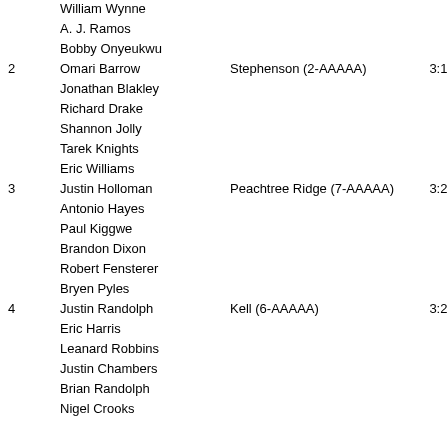William Wynne
A. J. Ramos
Bobby Onyeukwu
2  Omari Barrow  Stephenson (2-AAAAA)  3:19.820
Jonathan Blakley
Richard Drake
Shannon Jolly
Tarek Knights
Eric Williams
3  Justin Holloman  Peachtree Ridge (7-AAAAA)  3:20.280
Antonio Hayes
Paul Kiggwe
Brandon Dixon
Robert Fensterer
Bryen Pyles
4  Justin Randolph  Kell (6-AAAAA)  3:20.760
Eric Harris
Leanard Robbins
Justin Chambers
Brian Randolph
Nigel Crooks